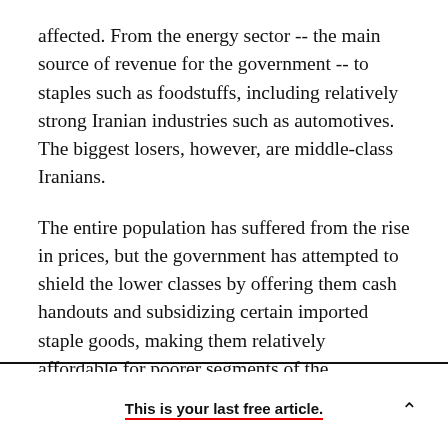affected. From the energy sector -- the main source of revenue for the government -- to staples such as foodstuffs, including relatively strong Iranian industries such as automotives. The biggest losers, however, are middle-class Iranians.
The entire population has suffered from the rise in prices, but the government has attempted to shield the lower classes by offering them cash handouts and subsidizing certain imported staple goods, making them relatively affordable for poorer segments of the population. But even these efforts have had a limited effect, as the price of goods such
This is your last free article.